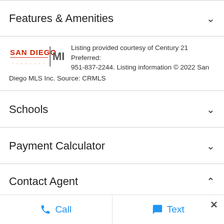Features & Amenities
Listing provided courtesy of Century 21 Preferred: 951-837-2244. Listing information © 2022 San Diego MLS Inc. Source: CRMLS
Schools
Payment Calculator
Contact Agent
[Figure (photo): Agent headshot photo — man smiling, dark hair]
Call   Text